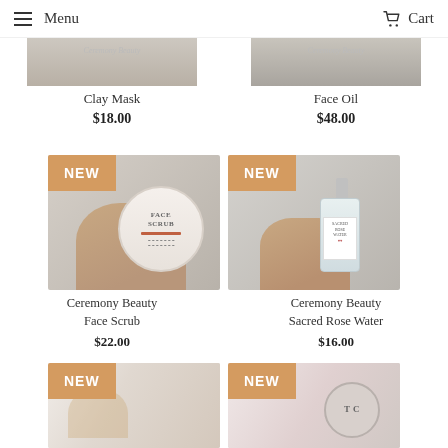Menu   Cart
Ceremony Beauty Clay Mask
$18.00
Ceremony Beauty Face Oil
$48.00
[Figure (photo): Hand holding a round Face Scrub container with a NEW badge overlay]
Ceremony Beauty Face Scrub
$22.00
[Figure (photo): Hand holding a Sacred Rose Water spray bottle with a NEW badge overlay]
Ceremony Beauty Sacred Rose Water
$16.00
[Figure (photo): Product image with NEW badge — partially visible at bottom left]
[Figure (photo): Product image with NEW badge — partially visible at bottom right]